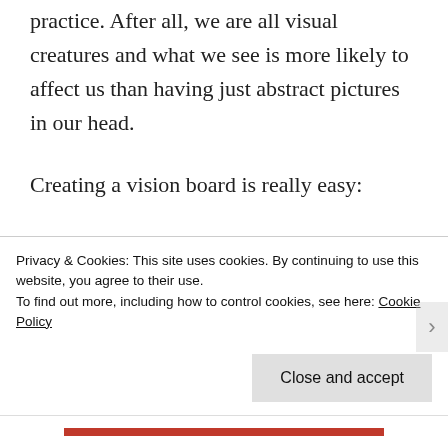practice. After all, we are all visual creatures and what we see is more likely to affect us than having just abstract pictures in our head.
Creating a vision board is really easy:
1. Find a suitable board
Privacy & Cookies: This site uses cookies. By continuing to use this website, you agree to their use. To find out more, including how to control cookies, see here: Cookie Policy